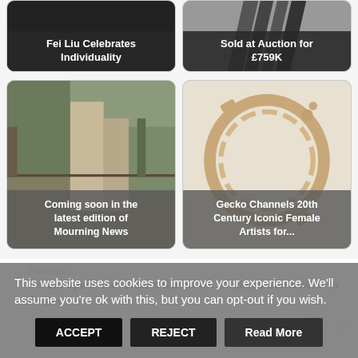[Figure (screenshot): Card with dark background and text overlay: Fei Liu Celebrates Individuality]
[Figure (screenshot): Card with grey background showing dark fabric/feathers and text overlay: Sold at Auction for £759K]
[Figure (photo): Outdoor photo of concrete pillar with trees and park, with text overlay: Coming soon in the latest edition of Mourning News]
[Figure (photo): Photo of rose gold chain bracelet/necklace, with text overlay: Gecko Channels 20th Century Iconic Female Artists for...]
Previous:
Fei Liu opens the 'Great Creator: UK Graduate Show 2015' in Beijing
Next:
This website uses cookies to improve your experience. We'll assume you're ok with this, but you can opt-out if you wish.
ACCEPT
REJECT
Read More